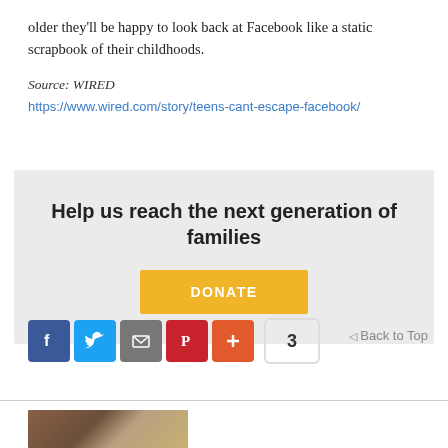older they'll be happy to look back at Facebook like a static scrapbook of their childhoods.
Source: WIRED
https://www.wired.com/story/teens-cant-escape-facebook/
Help us reach the next generation of families
DONATE
[Figure (infographic): Social share bar with Facebook, Twitter, Email, Pinterest, and plus buttons, showing share count of 3, and a Back to Top link]
[Figure (photo): Partial photo of a person at the bottom of the page]